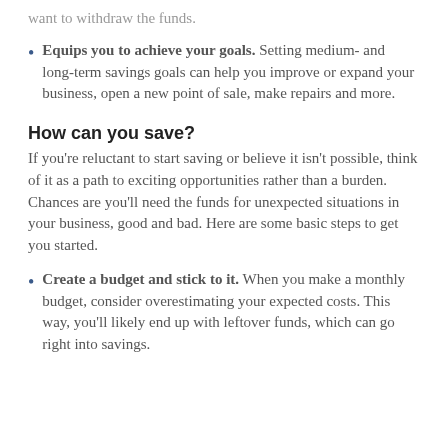want to withdraw the funds.
Equips you to achieve your goals. Setting medium- and long-term savings goals can help you improve or expand your business, open a new point of sale, make repairs and more.
How can you save?
If you're reluctant to start saving or believe it isn't possible, think of it as a path to exciting opportunities rather than a burden. Chances are you'll need the funds for unexpected situations in your business, good and bad. Here are some basic steps to get you started.
Create a budget and stick to it. When you make a monthly budget, consider overestimating your expected costs. This way, you'll likely end up with leftover funds, which can go right into savings.